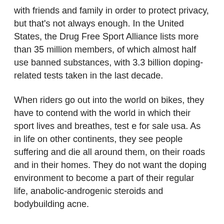with friends and family in order to protect privacy, but that's not always enough. In the United States, the Drug Free Sport Alliance lists more than 35 million members, of which almost half use banned substances, with 3.3 billion doping-related tests taken in the last decade.
When riders go out into the world on bikes, they have to contend with the world in which their sport lives and breathes, test e for sale usa. As in life on other continents, they see people suffering and die all around them, on their roads and in their homes. They do not want the doping environment to become a part of their regular life, anabolic-androgenic steroids and bodybuilding acne.
"Even if you've never used any of these substances," said one Career Ki...